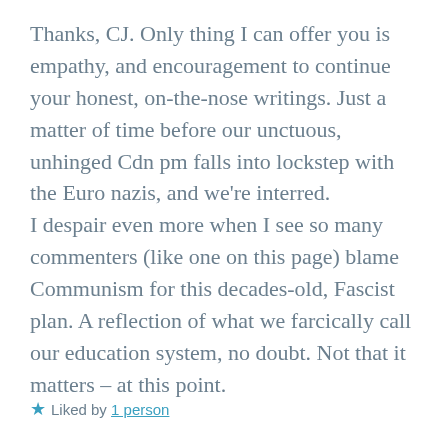Thanks, CJ. Only thing I can offer you is empathy, and encouragement to continue your honest, on-the-nose writings. Just a matter of time before our unctuous, unhinged Cdn pm falls into lockstep with the Euro nazis, and we’re interred.
I despair even more when I see so many commenters (like one on this page) blame Communism for this decades-old, Fascist plan. A reflection of what we farcically call our education system, no doubt. Not that it matters – at this point.
★ Liked by 1 person